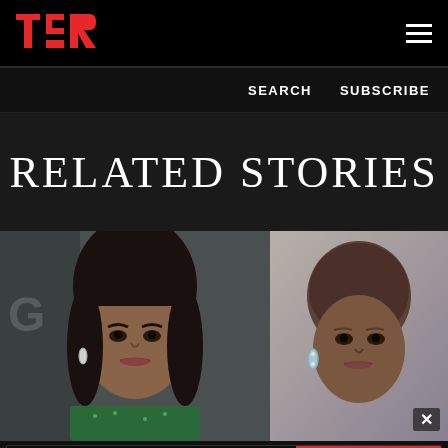TSR
SEARCH   SUBSCRIBE
RELATED STORIES
[Figure (photo): Two photos side by side: left photo shows a woman with long dark straight hair wearing a green outfit; right photo shows a woman with a shaved head wearing ear accessories]
[Figure (infographic): Advertisement banner for DRIPCODEZ with 'WATCH NOW ON YouTube' button in red]